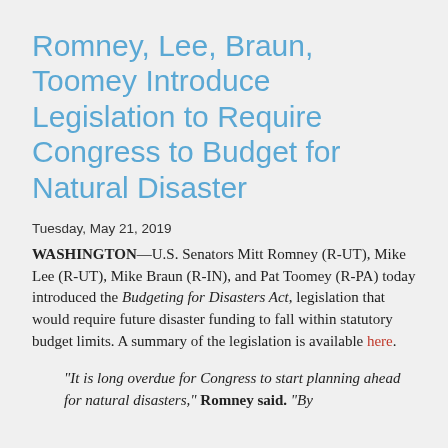Romney, Lee, Braun, Toomey Introduce Legislation to Require Congress to Budget for Natural Disaster
Tuesday, May 21, 2019
WASHINGTON—U.S. Senators Mitt Romney (R-UT), Mike Lee (R-UT), Mike Braun (R-IN), and Pat Toomey (R-PA) today introduced the Budgeting for Disasters Act, legislation that would require future disaster funding to fall within statutory budget limits. A summary of the legislation is available here.
“It is long overdue for Congress to start planning ahead for natural disasters,” Romney said. “By